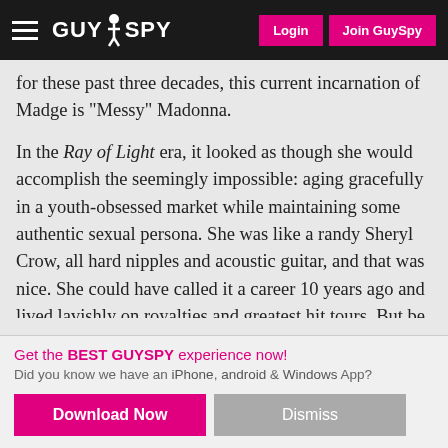GUYSPY — Login | Join GuySpy
for these past three decades, this current incarnation of Madge is “Messy” Madonna.
In the Ray of Light era, it looked as though she would accomplish the seemingly impossible: aging gracefully in a youth-obsessed market while maintaining some authentic sexual persona. She was like a randy Sheryl Crow, all hard nipples and acoustic guitar, and that was nice. She could have called it a career 10 years ago and lived lavishly on royalties and greatest hit tours. But be it greed, vanity, or, as Vice editor Mitchell Sunderland suggested, as we sat dumbfounded listening to Madge’s new album, “that working-class Catholic girl from Michigan work ethic,” she has pressed on.
Get the BEST GUYSPY experience now! Did you know we have an iPhone, android & Windows App?
Download Now
Dismiss